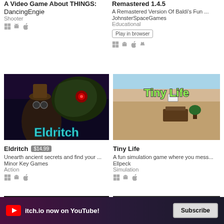A Video Game About THINGS:
DancingEngie
Shooter
Remastered 1.4.5
A Remastered Version Of Baldi's Fun ...
JohnsterSpaceGames
Educational
[Figure (screenshot): Eldritch game cover art showing a character with goggles facing a monster, with 'Eldritch' text in teal]
Eldritch $14.99
Unearth ancient secrets and find your ...
Minor Key Games
Action
[Figure (screenshot): Tiny Life game screenshot showing isometric view of a house interior with 'Tiny Life' text]
Tiny Life
A fun simulation game where you mess...
Ellpeck
Simulation
[Figure (screenshot): Partial dark game preview image at bottom left]
[Figure (screenshot): Partial dark game preview image at bottom right]
itch.io now on YouTube! Subscribe